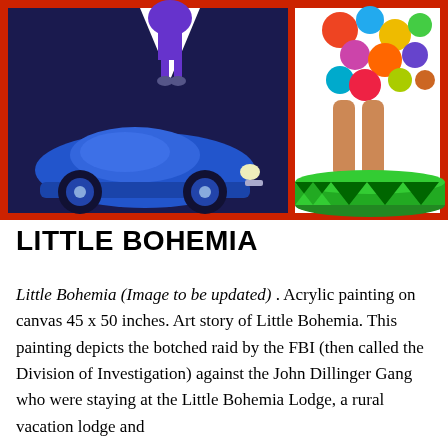[Figure (illustration): Colorful acrylic painting showing two panels: left panel has a vintage blue car on a dark background with geometric shapes, right panel shows a woman's legs in high heels standing on a green circus-drum style platform with colorful geometric patterns.]
LITTLE BOHEMIA
Little Bohemia (Image to be updated) . Acrylic painting on canvas 45 x 50 inches. Art story of Little Bohemia. This painting depicts the botched raid by the FBI (then called the Division of Investigation) against the John Dillinger Gang who were staying at the Little Bohemia Lodge, a rural vacation lodge and